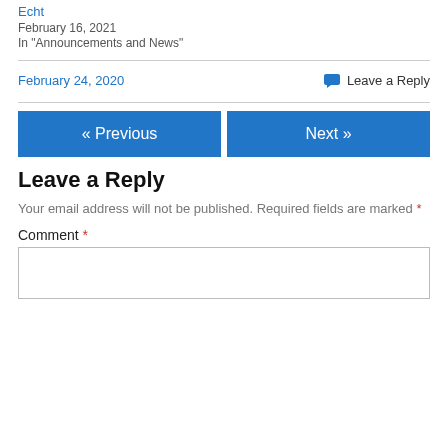Echt
February 16, 2021
In "Announcements and News"
February 24, 2020     Leave a Reply
« Previous
Next »
Leave a Reply
Your email address will not be published. Required fields are marked *
Comment *